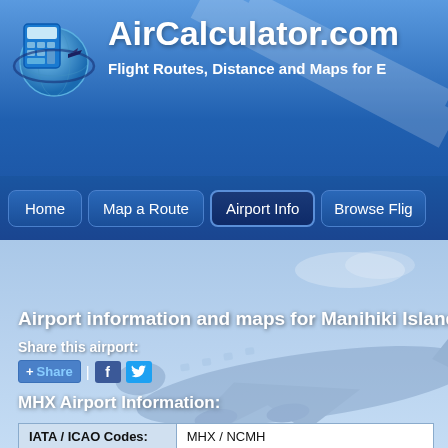AirCalculator.com — Flight Routes, Distance and Maps for E...
[Figure (screenshot): AirCalculator.com website logo with globe and calculator icon]
AirCalculator.com
Flight Routes, Distance and Maps for E
Home
Map a Route
Airport Info
Browse Flig...
Airport information and maps for Manihiki Island A
Share this airport:
+ Share | f 🐦
MHX Airport Information:
| IATA / ICAO Codes: |  |
| --- | --- |
| IATA / ICAO Codes: | MHX / NCMH |